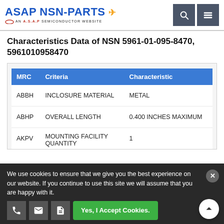ASAP NSN-PARTS — AN A.S.A.P SEMICONDUCTOR WEBSITE
Characteristics Data of NSN 5961-01-095-8470, 5961010958470
| MRC | Criteria | Characteristic |
| --- | --- | --- |
| ABBH | INCLOSURE MATERIAL | METAL |
| ABHP | OVERALL LENGTH | 0.400 INCHES MAXIMUM |
| AKPV | MOUNTING FACILITY QUANTITY | 1 |
|  | INTERNAL CONFIGURATION |  |
We use cookies to ensure that we give you the best experience on our website. If you continue to use this site we will assume that you are happy with it.
Yes, I Accept Cookies.